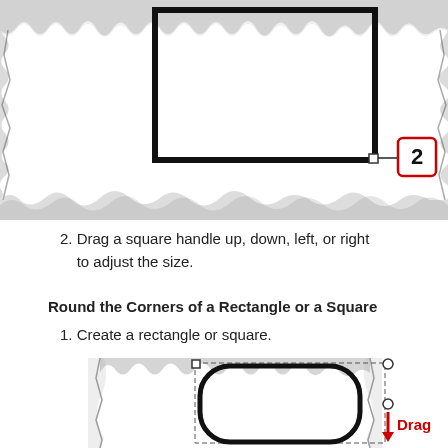[Figure (screenshot): Screenshot of a rectangle shape with a square handle at its bottom-right corner, and a callout numbered '2' in red pointing to the handle. The image has torn/ragged edges on all sides, showing a portion of a page.]
2. Drag a square handle up, down, left, or right to adjust the size.
Round the Corners of a Rectangle or a Square
1. Create a rectangle or square.
[Figure (screenshot): Screenshot showing a rounded rectangle shape with a square handle at top-left and a circle handle at top-right, and another circle handle on the right side. A red arrow labeled 'Drag' points downward from the right handle. The image has torn/ragged edges on top and sides.]